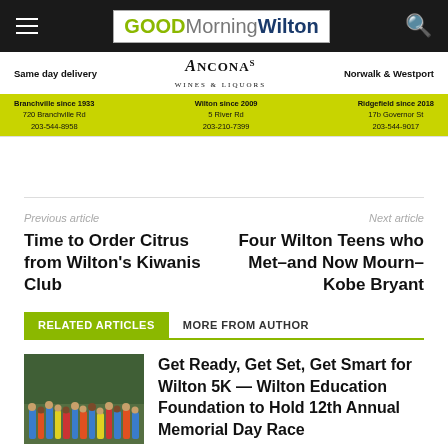GOOD Morning Wilton
[Figure (other): Ancona's Wines & Liquors advertisement banner with three locations: Branchville since 1933 (720 Branchville Rd, 203-544-8958), Wilton since 2009 (5 River Rd, 203-210-7399), Norwalk & Westport / Ridgefield since 2018 (17b Governor St, 203-544-9017). Yellow bottom row.]
Previous article
Time to Order Citrus from Wilton's Kiwanis Club
Next article
Four Wilton Teens who Met–and Now Mourn–Kobe Bryant
RELATED ARTICLES
MORE FROM AUTHOR
[Figure (photo): Group of runners in blue and colorful shirts at the start of a 5K race on a track or pavement, outdoor setting with trees in background.]
Get Ready, Get Set, Get Smart for Wilton 5K — Wilton Education Foundation to Hold 12th Annual Memorial Day Race